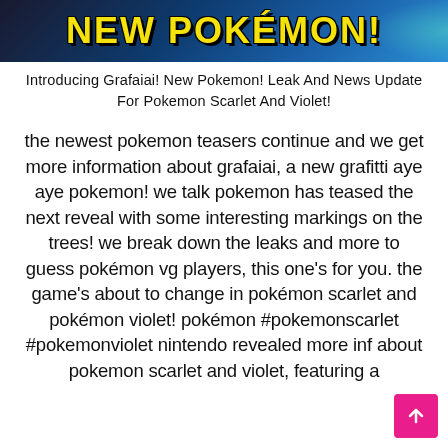[Figure (illustration): Dark blue banner with bold yellow capitalized text reading 'NEW POKEMON!' with teal/green decorative element on right side]
Introducing Grafaiai! New Pokemon! Leak And News Update For Pokemon Scarlet And Violet!
the newest pokemon teasers continue and we get more information about grafaiai, a new grafitti aye aye pokemon! we talk pokemon has teased the next reveal with some interesting markings on the trees! we break down the leaks and more to guess pokémon vg players, this one's for you. the game's about to change in pokémon scarlet and pokémon violet! pokémon #pokemonscarlet #pokemonviolet nintendo revealed more info about pokemon scarlet and violet, featuring a